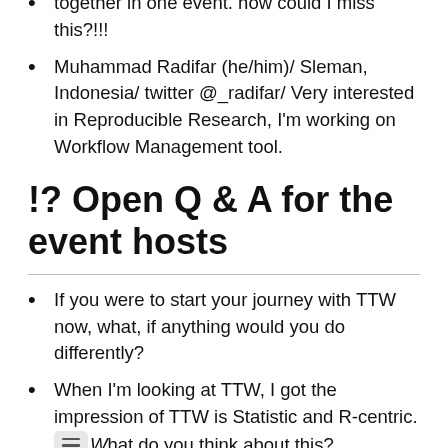together in one event. how could I miss this?!!!
Muhammad Radifar (he/him)/ Sleman, Indonesia/ twitter @_radifar/ Very interested in Reproducible Research, I'm working on Workflow Management tool.
!? Open Q & A for the event hosts
If you were to start your journey with TTW now, what, if anything would you do differently?
When I'm looking at TTW, I got the impression of TTW is Statistic and R-centric. What do you think about this?
Kirstie: Just in case we don't get to this question - I've also heard that it is too Python